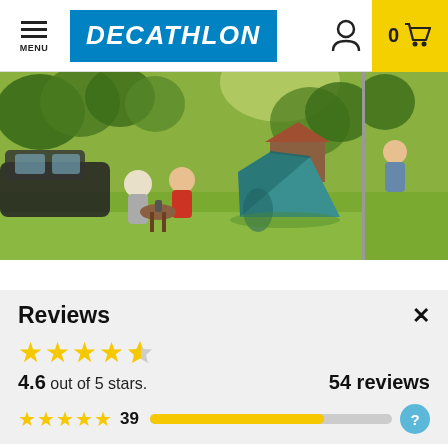MENU | DECATHLON | 0 (cart)
[Figure (photo): Camping scene showing two people sitting in chairs at a small table next to a car, with a teal dome tent in the background on a green grassy field with trees]
Reviews
4.6 out of 5 stars.
54 reviews
★★★★★ 39 [progress bar]